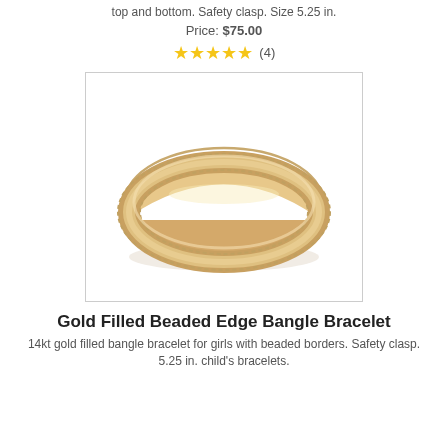top and bottom. Safety clasp. Size 5.25 in.
Price: $75.00
★★★★★ (4)
[Figure (photo): Gold filled beaded edge bangle bracelet product photo on white background]
Gold Filled Beaded Edge Bangle Bracelet
14kt gold filled bangle bracelet for girls with beaded borders. Safety clasp. 5.25 in. child's bracelets.